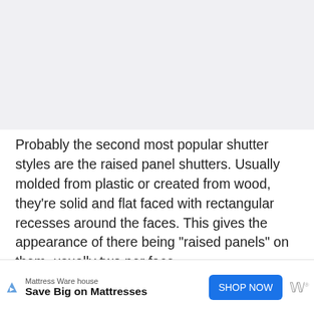[Figure (other): Light gray background image area at top of page]
Probably the second most popular shutter styles are the raised panel shutters. Usually molded from plastic or created from wood, they're solid and flat faced with rectangular recesses around the faces. This gives the appearance of there being "raised panels" on them, usually two per face.
These are popular in newer suburbs that are looking for a modern appeal without too much of a flashy appearance. They're easy to maintain, easy to paint, and easy to install. They also can be had that are easy to w... on brick or
[Figure (other): Advertisement banner: Mattress Warehouse - Save Big on Mattresses - SHOP NOW button]